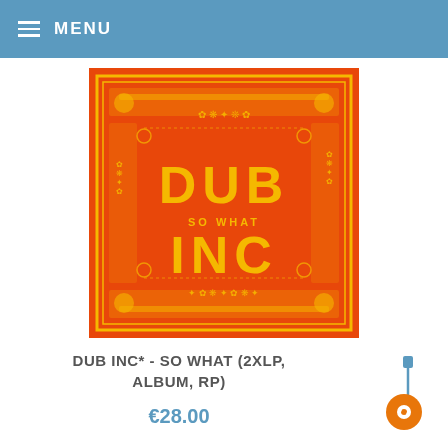MENU
[Figure (photo): Album cover for Dub Inc - So What. Orange background with yellow decorative border patterns and large yellow block letters spelling DUB INC with SO WHAT written smaller in the middle.]
DUB INC* - SO WHAT (2XLP, ALBUM, RP)
€28.00
[Figure (illustration): Small guitar and chat bubble icon in blue and orange, bottom right corner.]